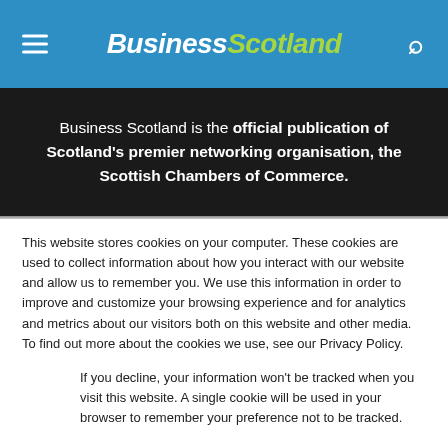Business Scotland
Business Scotland is the official publication of Scotland's premier networking organisation, the Scottish Chambers of Commerce.
This website stores cookies on your computer. These cookies are used to collect information about how you interact with our website and allow us to remember you. We use this information in order to improve and customize your browsing experience and for analytics and metrics about our visitors both on this website and other media. To find out more about the cookies we use, see our Privacy Policy.
If you decline, your information won't be tracked when you visit this website. A single cookie will be used in your browser to remember your preference not to be tracked.